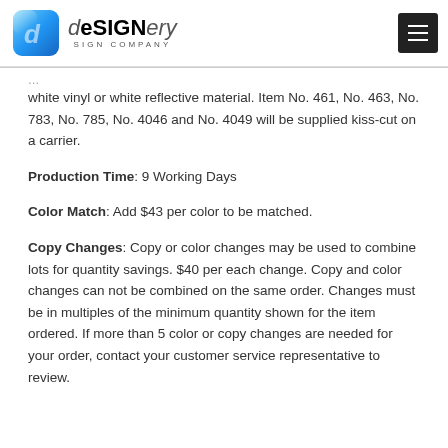deSIGNery SIGN COMPANY
white vinyl or white reflective material. Item No. 461, No. 463, No. 783, No. 785, No. 4046 and No. 4049 will be supplied kiss-cut on a carrier.
Production Time: 9 Working Days
Color Match: Add $43 per color to be matched.
Copy Changes: Copy or color changes may be used to combine lots for quantity savings. $40 per each change. Copy and color changes can not be combined on the same order. Changes must be in multiples of the minimum quantity shown for the item ordered. If more than 5 color or copy changes are needed for your order, contact your customer service representative to review.